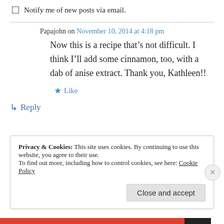Notify me of new posts via email.
Papajohn on November 10, 2014 at 4:18 pm
Now this is a recipe that’s not difficult. I think I’ll add some cinnamon, too, with a dab of anise extract. Thank you, Kathleen!!
★ Like
↳ Reply
Privacy & Cookies: This site uses cookies. By continuing to use this website, you agree to their use.
To find out more, including how to control cookies, see here: Cookie Policy
Close and accept